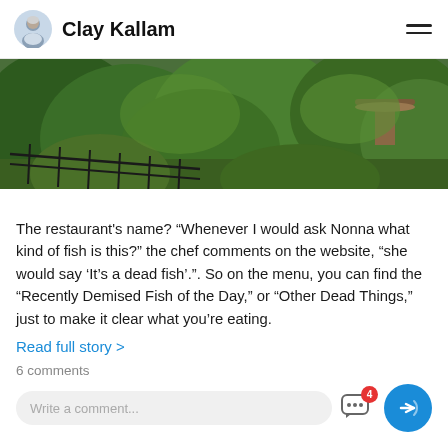Clay Kallam
[Figure (photo): Outdoor garden scene with lush green shrubs, a black metal fence/railing, and what appears to be a large flat-topped garden ornament or sundial on a pedestal in the background, with trees visible.]
The restaurant's name? "Whenever I would ask Nonna what kind of fish is this?" the chef comments on the website, "she would say 'It's a dead fish'.". So on the menu, you can find the "Recently Demised Fish of the Day," or "Other Dead Things," just to make it clear what you're eating.
Read full story >
6 comments